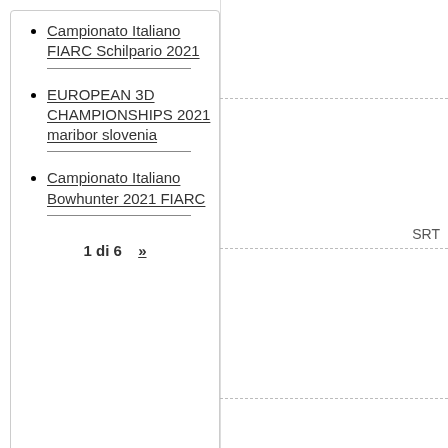Campionato Italiano FIARC Schilpario 2021
EUROPEAN 3D CHAMPIONSHIPS 2021 maribor slovenia
Campionato Italiano Bowhunter 2021 FIARC
1 di 6  »